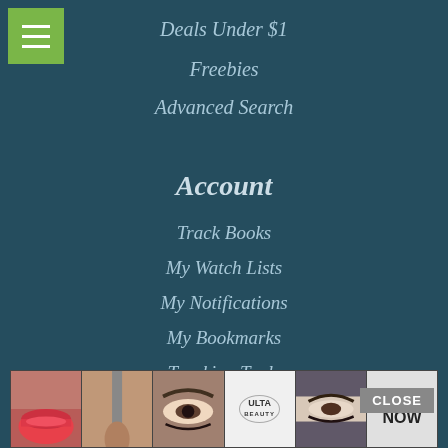[Figure (screenshot): Green hamburger menu button with three white horizontal lines]
Deals Under $1
Freebies
Advanced Search
Account
Track Books
My Watch Lists
My Notifications
My Bookmarks
Tracking Tools
Company
About Us
[Figure (infographic): Advertisement banner with beauty/makeup images including lips, brush, eyes, Ulta Beauty logo, and SHOP NOW button]